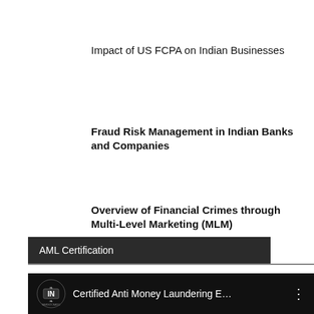Impact of US FCPA on Indian Businesses
Fraud Risk Management in Indian Banks and Companies
Overview of Financial Crimes through Multi-Level Marketing (MLM)
AML Certification
Certified Anti Money Laundering E…